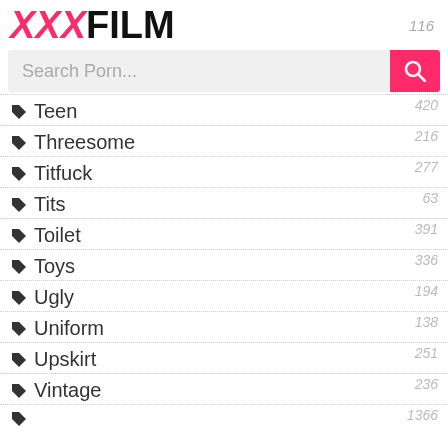XXXFILM
Teen — 420
Threesome — 216
Titfuck — 277
Tits — 63
Toilet — 391
Toys — 336
Ugly — 194
Uniform — 138
Upskirt — 251
Vintage — 236
V... — 1366